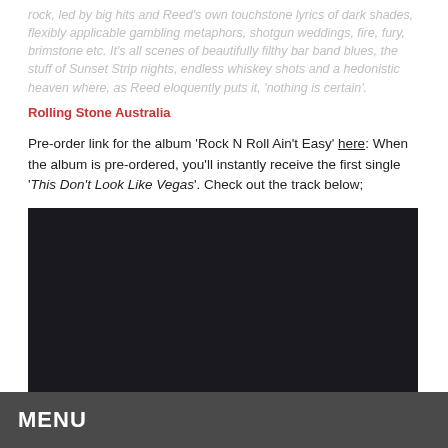rock, led by big hits and Reed's own touchstone lyrics of dark shades, flexibly applicable gambling metaphors, shotgun weddings, fire, fury, brimstone etc. It's all scenes of beautifully filthy bar band blues, the stuff of Sunset Strip nights, endless whiskey shots and a hedonistic heaven where, as Reed eloquently puts it, 'nothing is certain'.
Rolling Stone Australia
Pre-order link for the album 'Rock N Roll Ain't Easy' here: When the album is pre-ordered, you'll instantly receive the first single 'This Don't Look Like Vegas'. Check out the track below;
[Figure (other): Embedded video player showing a dark/black background, likely a music video embed for 'This Don't Look Like Vegas']
MENU